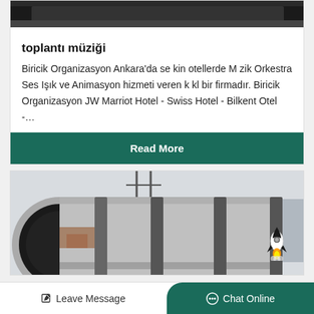[Figure (photo): Top partial view of a dark colored vehicle or stage, only the top edge is visible]
toplantı müziği
Biricik Organizasyon Ankara'da se kin otellerde M zik Orkestra Ses Işık ve Animasyon hizmeti veren k kl bir firmadır. Biricik Organizasyon JW Marriot Hotel - Swiss Hotel - Bilkent Otel -…
Read More
[Figure (photo): Industrial large cylindrical metal pipes or rotary kiln equipment outdoors near a factory building, with a small rocket chatbot icon overlay in the bottom right]
Leave Message   Chat Online